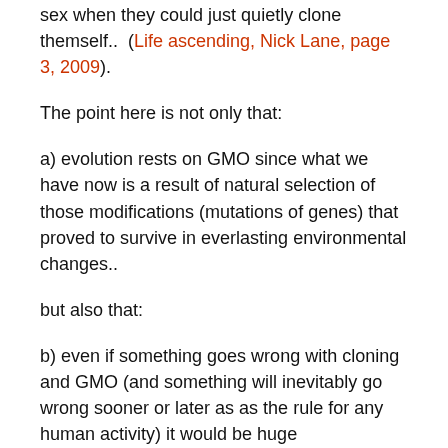sex when they could just quietly clone themself..  (Life ascending, Nick Lane, page 3, 2009).
The point here is not only that:
a) evolution rests on GMO since what we have now is a result of natural selection of those modifications (mutations of genes) that proved to survive in everlasting environmental changes..
but also that:
b) even if something goes wrong with cloning and GMO (and something will inevitably go wrong sooner or later as as the rule for any human activity) it would be huge overestimation of human powers to compare it to the power of evolution itself.